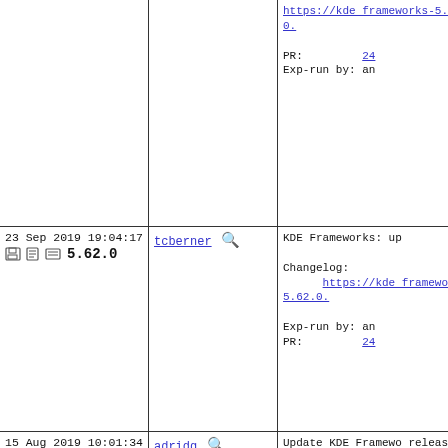| Date/Version | Author | Commit Message |
| --- | --- | --- |
|  |  | https://kde frameworks-5.63.0.

PR:      24
Exp-run by: an |
| 23 Sep 2019 19:04:17
5.62.0 | tcberner | KDE Frameworks: up

Changelog:
  https://kde frameworks-5.62.0.

Exp-run by: an
PR:      24 |
| 15 Aug 2019 10:01:34
5.61.0 | adridg | Update KDE Framewo release, 5.61

Release notes at
  https://kde frameworks-5.61.0.

Thanks to
      antoine@ f
      tcberner@
      the Gentoo
picking patches

There are a bunch included) headers, broke existing KDE |